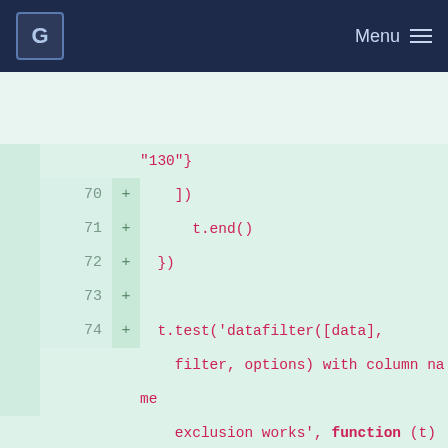G  Menu
[Figure (screenshot): Code diff viewer showing JavaScript test code lines 70-80 with added lines marked with '+', pink/red monospace text on light green background. Code shows t.end(), t.test for datafilter with column name exclusion, and t.deepEquals with data objects containing ID, product, sales, and city fields.]